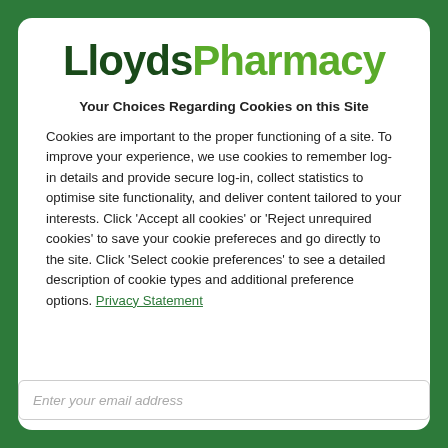[Figure (logo): LloydsPharmacy logo with 'Lloyds' in dark green bold and 'Pharmacy' in light green bold]
Your Choices Regarding Cookies on this Site
Cookies are important to the proper functioning of a site. To improve your experience, we use cookies to remember log-in details and provide secure log-in, collect statistics to optimise site functionality, and deliver content tailored to your interests. Click 'Accept all cookies' or 'Reject unrequired cookies' to save your cookie prefereces and go directly to the site. Click 'Select cookie preferences' to see a detailed description of cookie types and additional preference options. Privacy Statement
Enter your email address